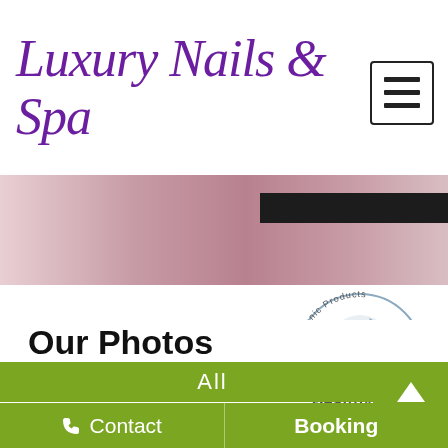Luxury Nails & Spa
[Figure (photo): Pink and rose gradient banner with black and green color bars]
[Figure (logo): Circular logo with tree illustration, text reading Organic Products, Disposable Supplies, Healthy Life]
Our Photos
All
Eyelash extensions 27519
Contact   Booking